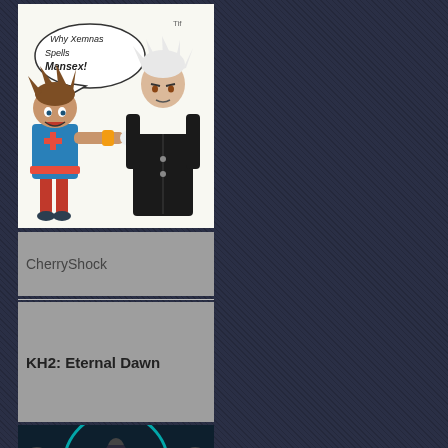[Figure (illustration): Fan art illustration of two Kingdom Hearts characters: Sora (shorter, brown hair, blue outfit) pointing and speaking, with a speech bubble saying 'Why Xemnas Spells Mansex!', and a taller character in black (Xemnas) with white hair standing beside him. White background, hand-drawn style.]
CherryShock
KH2: Eternal Dawn
[Figure (illustration): Fan art illustration showing Kingdom Hearts characters arranged in a circular frame with wing-like designs. A female figure with long dark hair is centered, surrounded by smaller character portraits at the bottom. Teal and dark blue color scheme.]